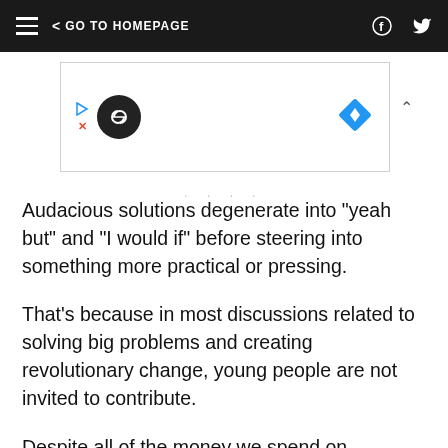GO TO HOMEPAGE
[Figure (other): Advertisement banner with play button, infinity logo circle, blue diamond direction icon, and collapse caret]
Audacious solutions degenerate into "yeah but" and "I would if" before steering into something more practical or pressing.
That's because in most discussions related to solving big problems and creating revolutionary change, young people are not invited to contribute.
Despite all of the money we spend on education and the hours of their lives students spend in school, little of the conversation is driven by what